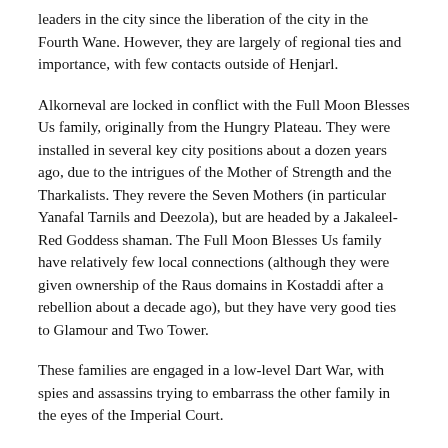leaders in the city since the liberation of the city in the Fourth Wane. However, they are largely of regional ties and importance, with few contacts outside of Henjarl.
Alkorneval are locked in conflict with the Full Moon Blesses Us family, originally from the Hungry Plateau. They were installed in several key city positions about a dozen years ago, due to the intrigues of the Mother of Strength and the Tharkalists. They revere the Seven Mothers (in particular Yanafal Tarnils and Deezola), but are headed by a Jakaleel-Red Goddess shaman. The Full Moon Blesses Us family have relatively few local connections (although they were given ownership of the Raus domains in Kostaddi after a rebellion about a decade ago), but they have very good ties to Glamour and Two Tower.
These families are engaged in a low-level Dart War, with spies and assassins trying to embarrass the other family in the eyes of the Imperial Court.